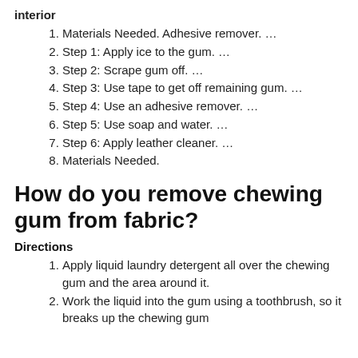interior
Materials Needed. Adhesive remover. …
Step 1: Apply ice to the gum. …
Step 2: Scrape gum off. …
Step 3: Use tape to get off remaining gum. …
Step 4: Use an adhesive remover. …
Step 5: Use soap and water. …
Step 6: Apply leather cleaner. …
Materials Needed.
How do you remove chewing gum from fabric?
Directions
Apply liquid laundry detergent all over the chewing gum and the area around it.
Work the liquid into the gum using a toothbrush, so it breaks up the chewing gum